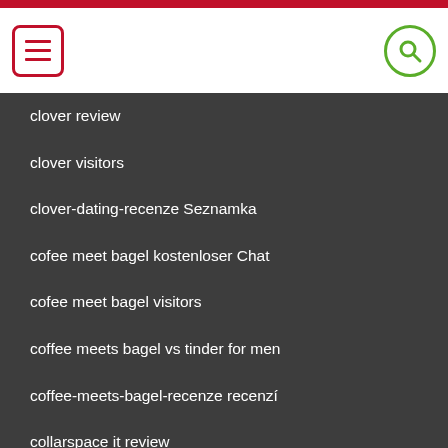Navigation header with menu and search icons
clover review
clover visitors
clover-dating-recenze Seznamka
cofee meet bagel kostenloser Chat
cofee meet bagel visitors
coffee meets bagel vs tinder for men
coffee-meets-bagel-recenze recenzí
collarspace it review
Collarspace visitors
college hookup apps hookuphotties review
college hookup apps read here
College Hookup Apps review
college hookup apps site